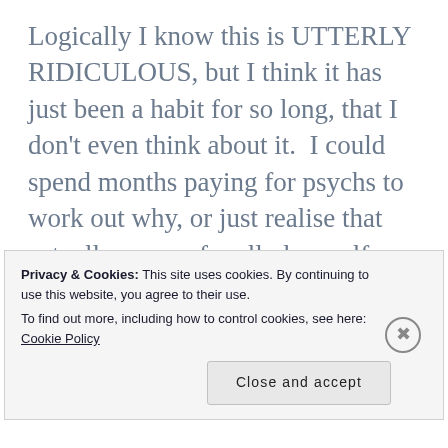Logically I know this is UTTERLY RIDICULOUS, but I think it has just been a habit for so long, that I don't even think about it.  I could spend months paying for psychs to work out why, or just realise that actually years of really low self-esteem have more than likely led to a lot of self-sabotage, and I've just not broken the bad, ingrained habits.  Sugar is a real issue for
Privacy & Cookies: This site uses cookies. By continuing to use this website, you agree to their use.
To find out more, including how to control cookies, see here: Cookie Policy